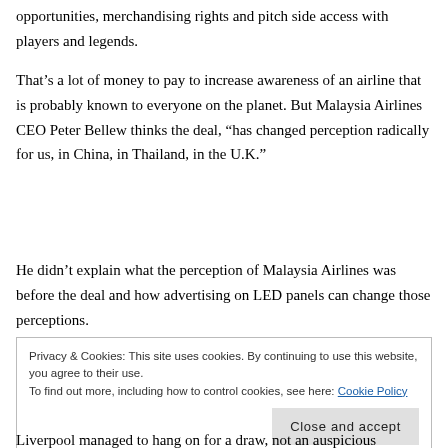opportunities, merchandising rights and pitch side access with players and legends.
That’s a lot of money to pay to increase awareness of an airline that is probably known to everyone on the planet. But Malaysia Airlines CEO Peter Bellew thinks the deal, “has changed perception radically for us, in China, in Thailand, in the U.K.”
He didn’t explain what the perception of Malaysia Airlines was before the deal and how advertising on LED panels can change those perceptions.
Privacy & Cookies: This site uses cookies. By continuing to use this website, you agree to their use.
To find out more, including how to control cookies, see here: Cookie Policy
[Close and accept]
Liverpool managed to hang on for a draw, not an auspicious